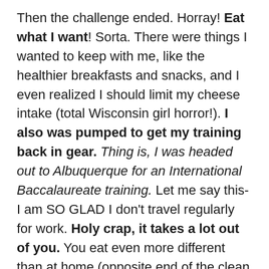Then the challenge ended. Horray! Eat what I want! Sorta. There were things I wanted to keep with me, like the healthier breakfasts and snacks, and I even realized I should limit my cheese intake (total Wisconsin girl horror!). I also was pumped to get my training back in gear. Thing is, I was headed out to Albuquerque for an International Baccalaureate training. Let me say this-I am SO GLAD I don't travel regularly for work. Holy crap, it takes a lot out of you. You eat even more different than at home (opposite end of the clean eating challenge) and your normal workout schedule could go haywire.
When I crafted my Edmonton Marathon training plan, I kept in mind my summer vacations. I kept in mind this very week of “school” training in the States. I made sure the runs planned during those times were feasible. Coming off my two challenging weeks of training all while feeling